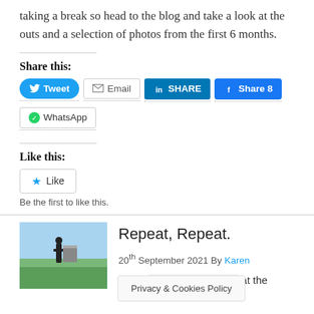taking a break so head to the blog and take a look at the outs and a selection of photos from the first 6 months.
Share this:
[Figure (screenshot): Social sharing buttons: Tweet, Email, SHARE (LinkedIn), Share 8 (Facebook), WhatsApp]
Like this:
[Figure (screenshot): Like button with star icon]
Be the first to like this.
[Figure (photo): Thumbnail photo of a person at a golf driving range with green field in background]
Repeat, Repeat.
20th September 2021 By Karen
And th... at the mome... in Los
Privacy & Cookies Policy